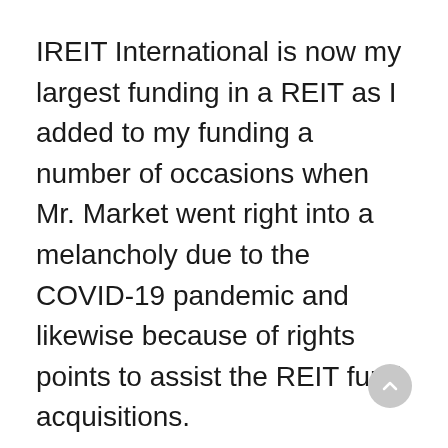IREIT International is now my largest funding in a REIT as I added to my funding a number of occasions when Mr. Market went right into a melancholy due to the COVID-19 pandemic and likewise because of rights points to assist the REIT fund acquisitions.
Similar to AIMS APAC REIT, I imagine IREIT International to be